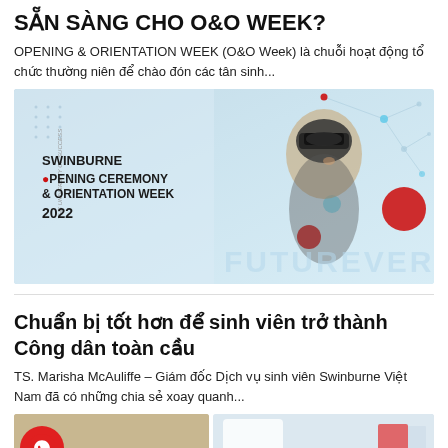SẴN SÀNG CHO O&O WEEK?
OPENING & ORIENTATION WEEK (O&O Week) là chuỗi hoạt động tổ chức thường niên để chào đón các tân sinh...
[Figure (photo): Swinburne Opening Ceremony & Orientation Week 2022 promotional banner. Shows a woman wearing a VR headset smiling, alongside text 'SWINBURNE OPENING CEREMONY & ORIENTATION WEEK 2022' and decorative network dots. 'FUTUREVERS' text at bottom.]
Chuẩn bị tốt hơn để sinh viên trở thành Công dân toàn cầu
TS. Marisha McAuliffe – Giám đốc Dịch vụ sinh viên Swinburne Việt Nam đã có những chia sẻ xoay quanh...
[Figure (photo): Two partial images side by side: left shows a brown/tan background with a small pink/red dot; right shows a white setting with a colored flag or paper element visible. A red WhatsApp button overlays the left image.]